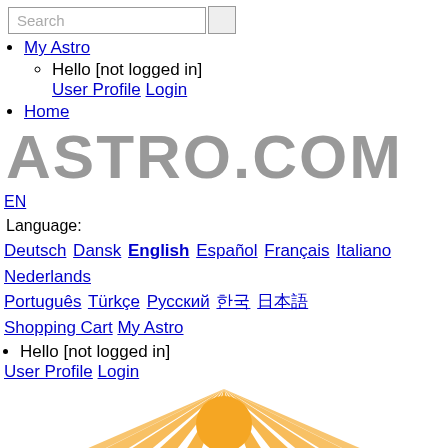Search [search box] My Astro, Hello [not logged in] User Profile Login, Home
ASTRO.COM
EN Language: Deutsch Dansk English Español Français Italiano Nederlands Português Türkçe Русский 한국어 日本語 Shopping Cart My Astro
Hello [not logged in]
User Profile Login
[Figure (logo): Astrodienst logo with golden sun rays and blue banner reading ASTRO DIENST]